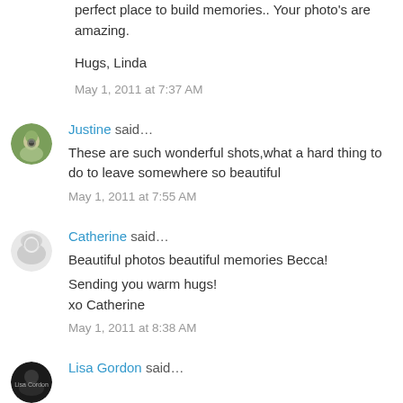perfect place to build memories.. Your photo's are amazing.
Hugs, Linda
May 1, 2011 at 7:37 AM
Justine said…
These are such wonderful shots,what a hard thing to do to leave somewhere so beautiful
May 1, 2011 at 7:55 AM
Catherine said…
Beautiful photos beautiful memories Becca!

Sending you warm hugs!
xo Catherine
May 1, 2011 at 8:38 AM
Lisa Gordon said…